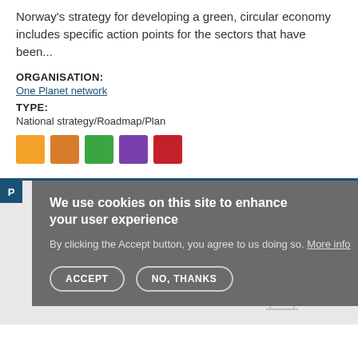Norway's strategy for developing a green, circular economy includes specific action points for the sectors that have been...
ORGANISATION:
One Planet network
TYPE:
National strategy/Roadmap/Plan
[Figure (infographic): Five colored SDG squares: orange, dark orange, green, purple, dark red]
We use cookies on this site to enhance your user experience
By clicking the Accept button, you agree to us doing so. More info
ACCEPT  NO, THANKS